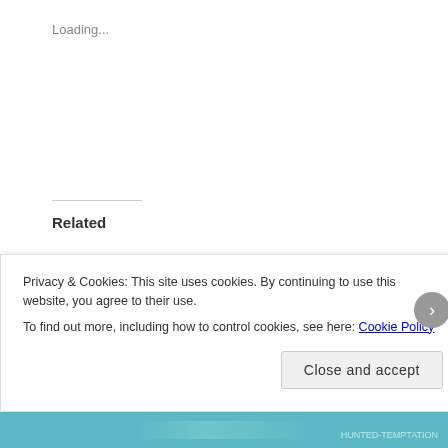Loading...
Related
Why I started blogging! It gets personal!
Why I started blogging? The first time I ever spoke about blogging was over a year ago now; I was joking about
November 26, 2015
Ivy Smoak : The Hunted interview : part 2
I got the chance to interview the author of The Hunted-Temptation, Ivy Smoak. So sit back and enjoy! Part
Privacy & Cookies: This site uses cookies. By continuing to use this website, you agree to their use.
To find out more, including how to control cookies, see here: Cookie Policy
Close and accept